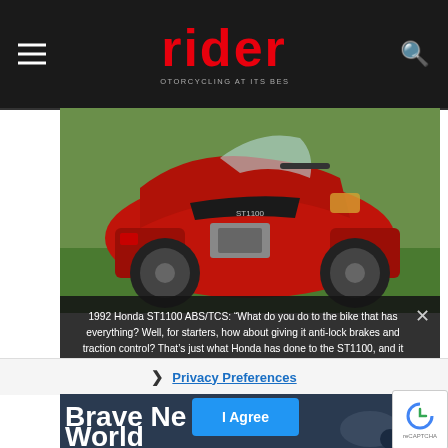rider MOTORCYCLING AT ITS BEST
[Figure (photo): 1992 Honda ST1100 ABS/TCS motorcycle in red, parked on grass, side profile view showing full fairing, windshield, saddlebags, and engine]
1992 Honda ST1100 ABS/TCS: “What do you do to the bike that has everything? Well, for starters, how about giving it anti-lock brakes and traction control? That’s just what Honda has done to the ST1100, and it has turned what was already a great motorcycle into a flagship for the entire motorcycle touring market.” (Rider, June 1992; photo by Mark Tuttle)
Privacy Preferences
[Figure (photo): Partial bottom strip showing text 'Brave New World' on a dark background with a motorcycle partially visible on the right]
I Agree